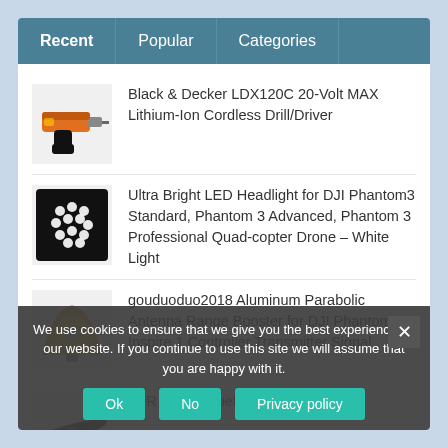Recent | Popular | Categories
Black & Decker LDX120C 20-Volt MAX Lithium-Ion Cordless Drill/Driver
Ultra Bright LED Headlight for DJI Phantom3 Standard, Phantom 3 Advanced, Phantom 3 Professional Quad-copter Drone – White Light
gouduoduo2018 Aluminum Parabolic Antenna Range Booster for DJI Phantom 3 Inspire 1 Controller Transmitter Signal Extend
3DR Solo Propeller Set
We use cookies to ensure that we give you the best experience on our website. If you continue to use this site we will assume that you are happy with it.
Ok | No | Privacy policy